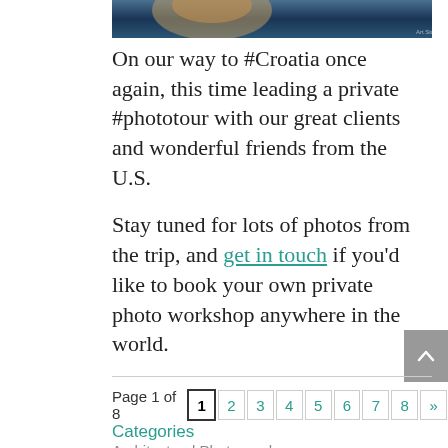[Figure (photo): Partial view of a wildlife or nature photo with dark blue water tones, cropped at top of page]
On our way to #Croatia once again, this time leading a private #phototour with our great clients and wonderful friends from the U.S.
Stay tuned for lots of photos from the trip, and get in touch if you'd like to book your own private photo workshop anywhere in the world.
Page 1 of 8  1  2  3  4  5  6  7  8  »
Categories
Architectural Photography